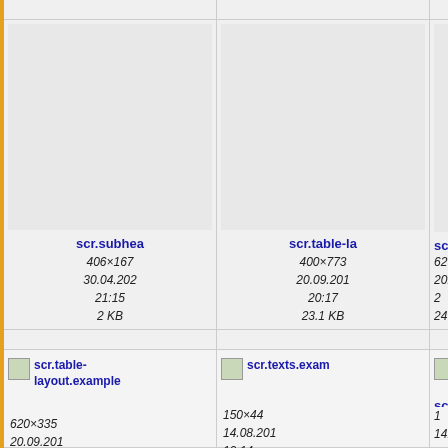[Figure (screenshot): File browser grid view showing image thumbnails and file metadata. Row 1 (partial top): two partially visible file cells. Row 2: scr.subhea... (406×167, 30.04.202, 21:15, 2 KB), scr.table-la... (400×773, 20.09.201, 20:17, 23.1 KB), scr.t... (partially visible, 62..., 20...., 24...). Row 3 (partial): two partially visible file cells. Row 4: scr.table-layout.example... with icon, scr.texts.exam... with icon, scr.texts.e... with icon partially visible. Metadata: 620×335, 20.09.201, 20:18 | 150×44, 14.08.201, 19:14 | 1... 14...]